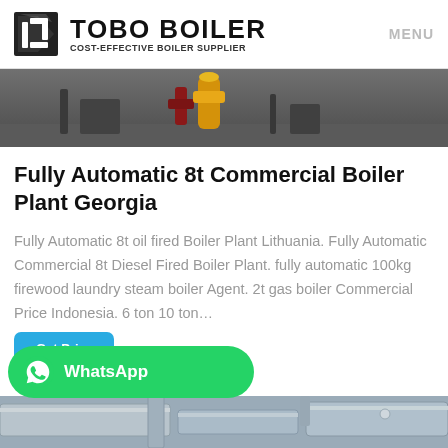TOBO BOILER — COST-EFFECTIVE BOILER SUPPLIER | MENU
[Figure (photo): Photo of industrial boiler equipment outdoors with red and yellow pipe fittings/valves on a gray background]
Fully Automatic 8t Commercial Boiler Plant Georgia
Fully Automatic 8t oil fired Boiler Plant Lithuania. Fully Automatic Commercial 8t Diesel Fired Boiler Plant. fully automatic 100kg firewood laundry steam boiler Agent. 2t gas boiler Commercial Price Indonesia. 6 ton 10 ton…
[Figure (screenshot): Get Price blue button and WhatsApp green button overlay]
[Figure (photo): Bottom partial photo of industrial HVAC ducting/pipes inside a building ceiling area]